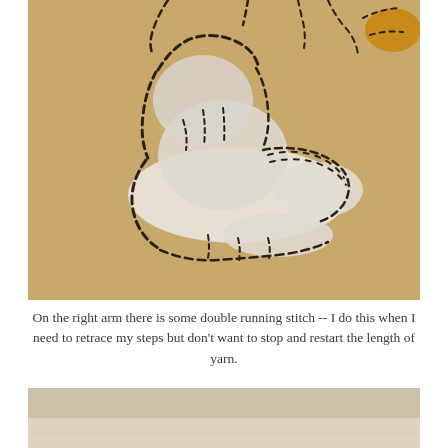[Figure (photo): Close-up photo of needlework/embroidery on tan/beige fabric showing a white animal figure (possibly a cat or bunny) outlined with black running stitch yarn. The right arm area shows double running stitch. A small golden-yellow patch is visible in the upper right corner.]
On the right arm there is some double running stitch -- I do this when I need to retrace my steps but don't want to stop and restart the length of yarn.
[Figure (photo): Partial view of a light beige/cream fabric or textile surface, partially visible at the bottom of the page.]